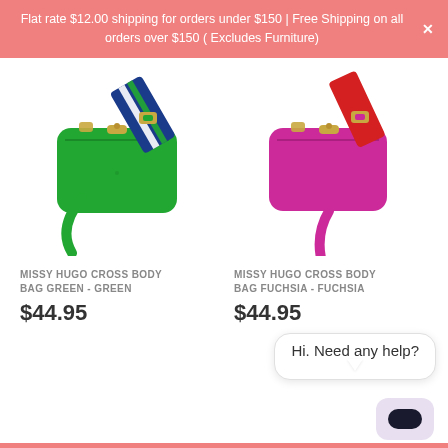Flat rate $12.00 shipping for orders under $150 | Free Shipping on all orders over $150 ( Excludes Furniture)
[Figure (photo): Green Missy Hugo cross body bag with striped navy/white/green strap]
MISSY HUGO CROSS BODY BAG GREEN - GREEN
$44.95
[Figure (photo): Fuchsia/magenta Missy Hugo cross body bag with red strap]
MISSY HUGO CROSS BODY BAG FUCHSIA - FUCHSIA
$44.95
Hi. Need any help?